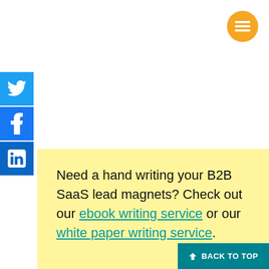[Figure (other): Orange circular menu/hamburger button in the top right corner]
[Figure (other): Twitter social share icon button (blue square with white bird)]
[Figure (other): Facebook social share icon button (blue square with white f)]
[Figure (other): LinkedIn social share icon button (blue square with white 'in')]
Need a hand writing your B2B SaaS lead magnets? Check out our ebook writing service or our white paper writing service.